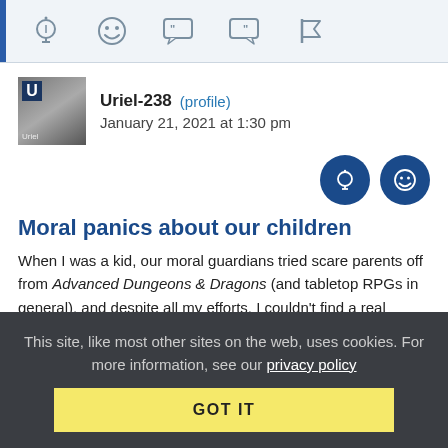[Figure (screenshot): Top toolbar with icons: lightbulb, smiley face, left-quote bubble, right-quote bubble, flag]
Uriel-238 (profile)   January 21, 2021 at 1:30 pm
[Figure (infographic): Two dark blue circular reaction buttons: lightbulb and smiley face]
Moral panics about our children
When I was a kid, our moral guardians tried scare parents off from Advanced Dungeons & Dragons (and tabletop RPGs in general), and despite all my efforts, I couldn't find a real Satanic cult to take me in and teach me real magic. (???????????!a!
This site, like most other sites on the web, uses cookies. For more information, see our privacy policy
GOT IT